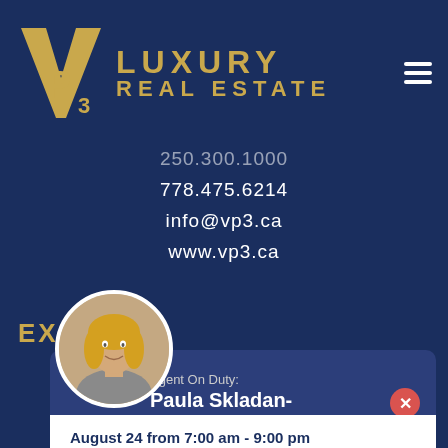[Figure (logo): VP3 Luxury Real Estate logo with golden VP3 monogram and text LUXURY REAL ESTATE in gold letters on dark navy background]
250.300.1000
778.475.6214
info@vp3.ca
www.vp3.ca
EXPLORE
[Figure (photo): Circular portrait photo of Paula Skladan-Roughton, a blonde woman]
Agent On Duty:
Paula Skladan-Roughton
August 24 from 7:00 am - 9:00 pm
Call: 250-540-9753
Text: 250-540-9753
Email: Paula@VP3.ca